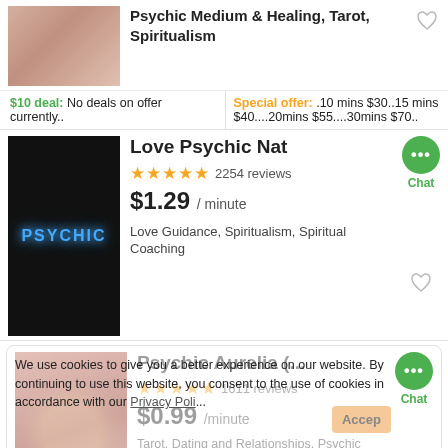[Figure (photo): Profile photo for Psychic Medium listing, person/hand image]
Psychic Medium & Healing, Tarot, Spiritualism
$10 deal: No deals on offer currently..
Special offer: .10 mins $30..15 mins $40....20mins $55....30mins $70..
[Figure (photo): Neon PSYCHIC sign in dark, blue glowing letters]
Love Psychic Nat
★★★★★ 2254 reviews
$1.29 / minute
Love Guidance, Spiritualism, Spiritual Coaching
[Figure (photo): Profile photo for Psychic Aurelia listing, mystic imagery]
Psychic Aurelia (...
★★★★★ 1611 reviews
$0.99 / minute
Tarot, Dating and Relationships, Psychic Medium & ...
We use cookies to give you a better experience on our website. By continuing to use this website, you consent to the use of cookies in accordance with our Privacy Poli...
$10 deal: ♥♥♥14 minute
Special offer: $60~ 1 hour,